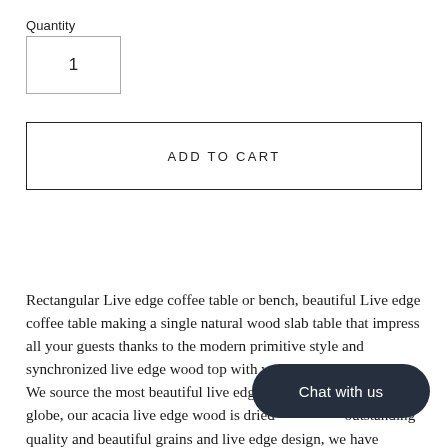Quantity
1
ADD TO CART
Rectangular Live edge coffee table or bench, beautiful Live edge coffee table making a single natural wood slab table that impress all your guests thanks to the modern primitive style and synchronized live edge wood top with wood base.
We source the most beautiful live edge woo... globe, our acacia live edge wood is dried ... outstanding quality and beautiful grains and live edge design, we have mastered the art of live edge and became the leader on
Chat with us